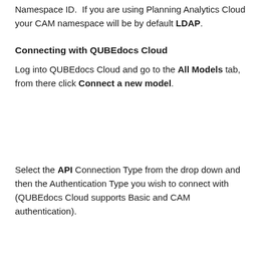Namespace ID.  If you are using Planning Analytics Cloud your CAM namespace will be by default LDAP.
Connecting with QUBEdocs Cloud
Log into QUBEdocs Cloud and go to the All Models tab, from there click Connect a new model.
Select the API Connection Type from the drop down and then the Authentication Type you wish to connect with (QUBEdocs Cloud supports Basic and CAM authentication).